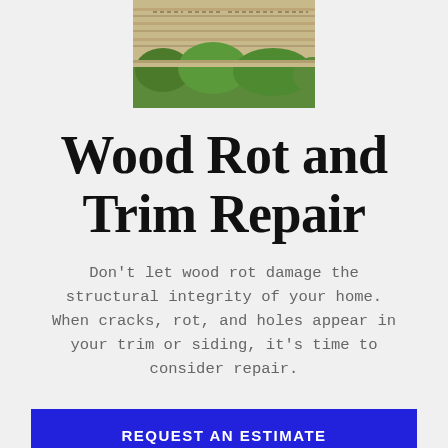[Figure (photo): Close-up photo of a wooden exterior trim or siding with visible detail, trees visible in background below]
Wood Rot and Trim Repair
Don't let wood rot damage the structural integrity of your home. When cracks, rot, and holes appear in your trim or siding, it's time to consider repair.
REQUEST AN ESTIMATE